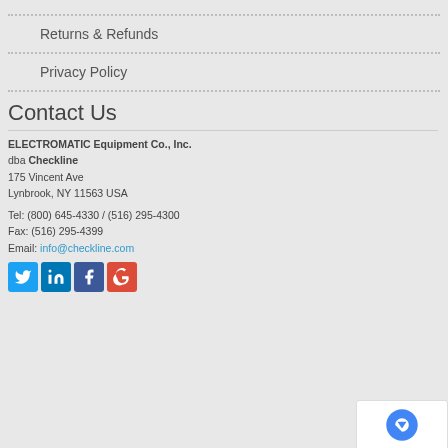Returns & Refunds
Privacy Policy
Contact Us
ELECTROMATIC Equipment Co., Inc.
dba Checkline
175 Vincent Ave
Lynbrook, NY 11563 USA

Tel: (800) 645-4330 / (516) 295-4300
Fax: (516) 295-4399
Email: info@checkline.com
[Figure (logo): Social media icons: Twitter, LinkedIn, Facebook, Google+]
[Figure (other): reCAPTCHA widget with Privacy and Terms links]